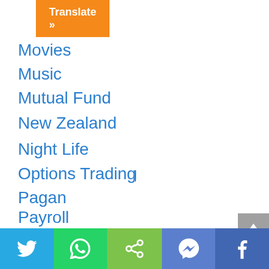Translate »
Movies
Music
Mutual Fund
New Zealand
Night Life
Options Trading
Pagan
Payroll
Penny Stock
Private Equity
Recruitment
Twitter | WhatsApp | Share | Messenger | Facebook